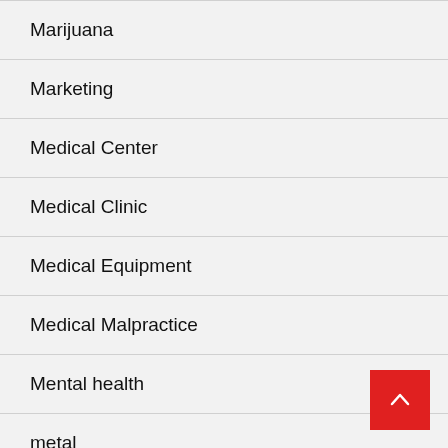Marijuana
Marketing
Medical Center
Medical Clinic
Medical Equipment
Medical Malpractice
Mental health
metal